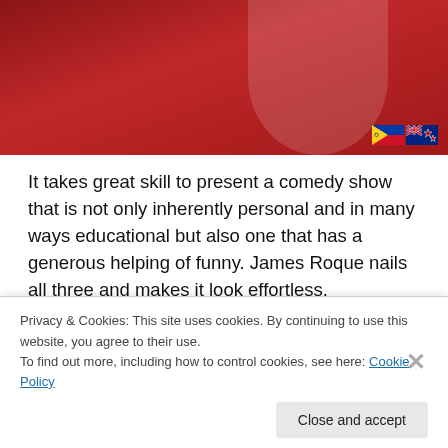[Figure (photo): Promotional photo of James Roque against a red background, with flag icons (Philippine and New Zealand flags) in the bottom right corner.]
It takes great skill to present a comedy show that is not only inherently personal and in many ways educational but also one that has a generous helping of funny. James Roque nails all three and makes it look effortless.
Boy Mestizo centres around Roque's recent trip back to his home country to reacquaint himself with his Filipino
Privacy & Cookies: This site uses cookies. By continuing to use this website, you agree to their use.
To find out more, including how to control cookies, see here: Cookie Policy
Close and accept